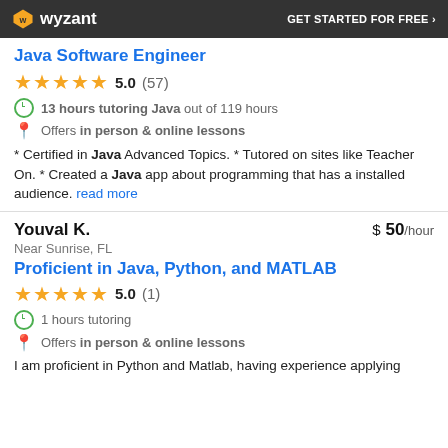wyzant | GET STARTED FOR FREE ›
Java Software Engineer
5.0 (57)
13 hours tutoring Java out of 119 hours
Offers in person & online lessons
* Certified in Java Advanced Topics. * Tutored on sites like Teacher On. * Created a Java app about programming that has a installed audience. read more
Youval K. | $ 50/hour
Near Sunrise, FL
Proficient in Java, Python, and MATLAB
5.0 (1)
1 hours tutoring
Offers in person & online lessons
I am proficient in Python and Matlab, having experience applying